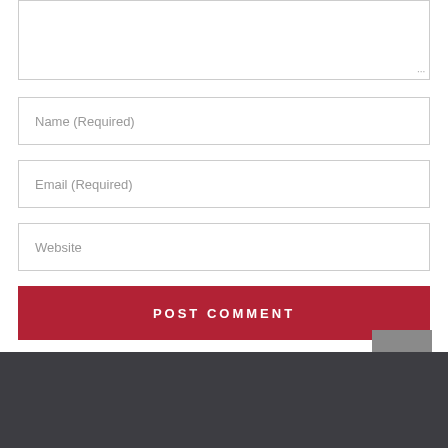[Figure (screenshot): Textarea input box (comment field) with resize handle at bottom right]
[Figure (screenshot): Text input field with placeholder 'Name (Required)']
[Figure (screenshot): Text input field with placeholder 'Email (Required)']
[Figure (screenshot): Text input field with placeholder 'Website']
[Figure (screenshot): Red button labeled 'POST COMMENT' in white uppercase letters]
[Figure (screenshot): Gray scroll-to-top button with upward arrow chevron]
CARDINUS RISK MANAGEMENT